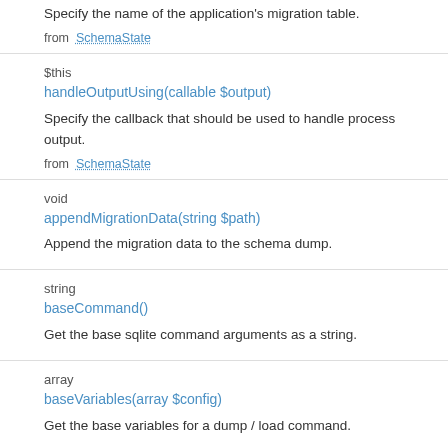Specify the name of the application's migration table.
from SchemaState
$this
handleOutputUsing(callable $output)
Specify the callback that should be used to handle process output.
from SchemaState
void
appendMigrationData(string $path)
Append the migration data to the schema dump.
string
baseCommand()
Get the base sqlite command arguments as a string.
array
baseVariables(array $config)
Get the base variables for a dump / load command.